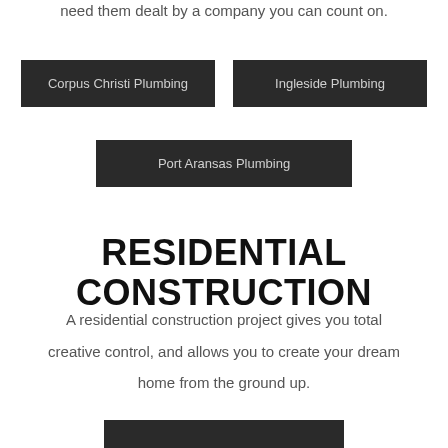need them dealt by a company you can count on.
Corpus Christi Plumbing
Ingleside Plumbing
Port Aransas Plumbing
RESIDENTIAL CONSTRUCTION
A residential construction project gives you total creative control, and allows you to create your dream home from the ground up.